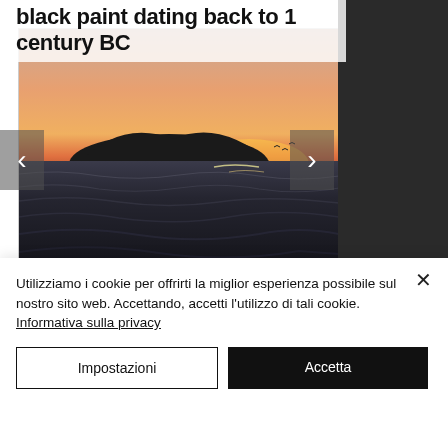black paint dating back to 1 century BC
[Figure (photo): Sunset over the sea with a silhouetted island in the background, viewed from a boat. Orange and pink sky, dark choppy water in the foreground. Navigation arrows on left and right sides.]
Utilizziamo i cookie per offrirti la miglior esperienza possibile sul nostro sito web. Accettando, accetti l'utilizzo di tali cookie. Informativa sulla privacy
Impostazioni
Accetta